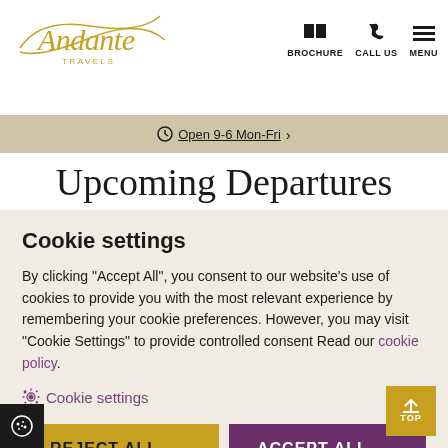Andante Travels — BROCHURE  CALL US  MENU
Open 9-6 Mon-Fri ›
Upcoming Departures
Cookie settings
By clicking "Accept All", you consent to our website's use of cookies to provide you with the most relevant experience by remembering your cookie preferences. However, you may visit "Cookie Settings" to provide controlled consent Read our cookie policy.
Cookie settings
REJECT ALL   ACCEPT ALL